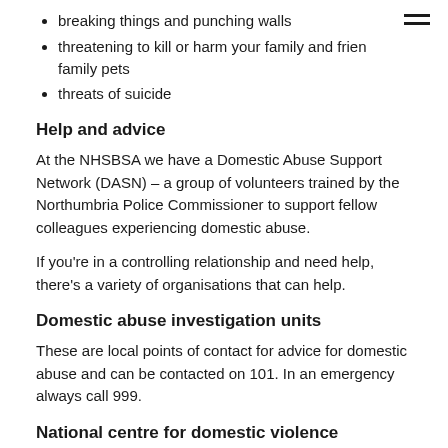breaking things and punching walls
threatening to kill or harm your family and friends' family pets
threats of suicide
Help and advice
At the NHSBSA we have a Domestic Abuse Support Network (DASN) – a group of volunteers trained by the Northumbria Police Commissioner to support fellow colleagues experiencing domestic abuse.
If you're in a controlling relationship and need help, there's a variety of organisations that can help.
Domestic abuse investigation units
These are local points of contact for advice for domestic abuse and can be contacted on 101. In an emergency always call 999.
National centre for domestic violence